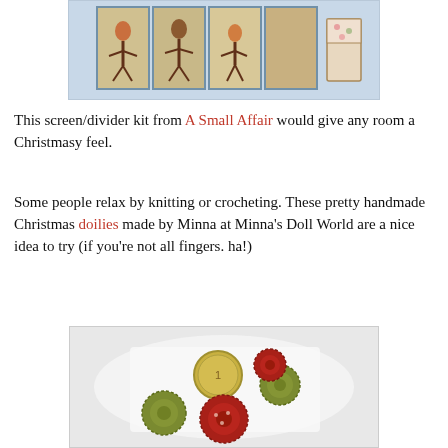[Figure (photo): A decorative folding screen/divider kit with Christmas-themed illustrations of dancing figures on multiple panels, with a chair visible in the background.]
This screen/divider kit from A Small Affair would give any room a Christmasy feel.
Some people relax by knitting or crocheting. These pretty handmade Christmas doilies made by Minna at Minna's Doll World are a nice idea to try (if you're not all fingers. ha!)
[Figure (photo): Four handmade Christmas doilies (green and red) arranged around a euro coin for scale, on a light background.]